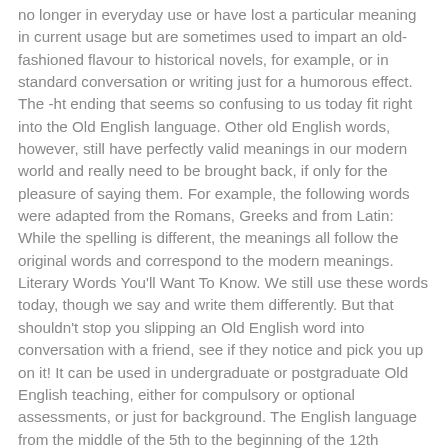no longer in everyday use or have lost a particular meaning in current usage but are sometimes used to impart an old-fashioned flavour to historical novels, for example, or in standard conversation or writing just for a humorous effect. The -ht ending that seems so confusing to us today fit right into the Old English language. Other old English words, however, still have perfectly valid meanings in our modern world and really need to be brought back, if only for the pleasure of saying them. For example, the following words were adapted from the Romans, Greeks and from Latin: While the spelling is different, the meanings all follow the original words and correspond to the modern meanings. Literary Words You'll Want To Know. We still use these words today, though we say and write them differently. But that shouldn't stop you slipping an Old English word into conversation with a friend, see if they notice and pick you up on it! It can be used in undergraduate or postgraduate Old English teaching, either for compulsory or optional assessments, or just for background. The English language from the middle of the 5th to the beginning of the 12th century. "For example, the word 'worm' or 'serpent' used as the object of a sentence would have been orminn in Old Norse, and simply wyrm in Old English. In 400-plus years, the meaning of many words used have changed, thus the need for a re-translation. Check out a Glossary of Old English words and their...